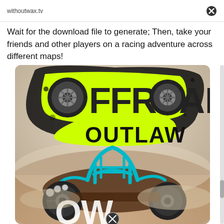withoutwax.tv
Wait for the download file to generate; Then, take your friends and other players on a racing adventure across different maps!
[Figure (illustration): Game cover art for 'Offroad Outlaw' showing a teal roll-cage off-road buggy vehicle with large tires on a dusty desert background, with bold yellow and black 'OFFROAD OUTLAW' logo text at the top featuring tire graphics as the letter 'O'.]